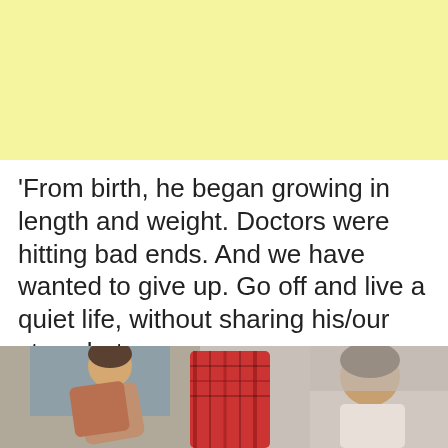[Figure (other): Yellow/cream colored advertisement banner]
'From birth, he began growing in length and weight. Doctors were hitting bad ends. And we have wanted to give up. Go off and live a quiet life, without sharing his/our story, but…
15.11.2021   Lilit
[Figure (photo): Photo showing people - appears to be a man with children, one wearing a red plaid shirt]